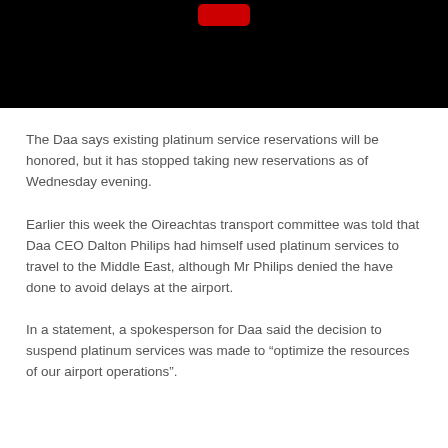[Figure (screenshot): Black video player thumbnail with a red YouTube-style play button at the top center]
The Daa says existing platinum service reservations will be honored, but it has stopped taking new reservations as of Wednesday evening.
Earlier this week the Oireachtas transport committee was told that Daa CEO Dalton Philips had himself used platinum services to travel to the Middle East, although Mr Philips denied the have done to avoid delays at the airport.
In a statement, a spokesperson for Daa said the decision to suspend platinum services was made to “optimize the resources of our airport operations”.